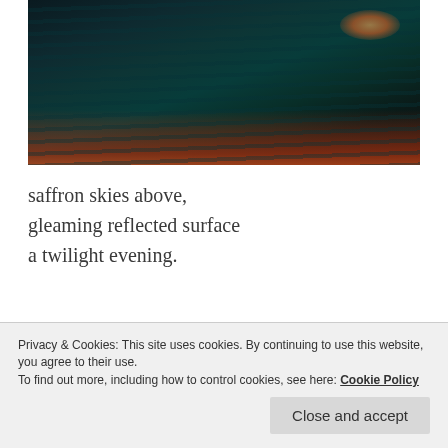[Figure (photo): Dark stormy ocean seascape at twilight with teal/dark waves and orange-red glowing light on the horizon at right.]
saffron skies above,
gleaming reflected surface
a twilight evening.
In response to Eugi's weekly prompt – Twilight.
A haiku after ages!
Privacy & Cookies: This site uses cookies. By continuing to use this website, you agree to their use.
To find out more, including how to control cookies, see here: Cookie Policy
Close and accept